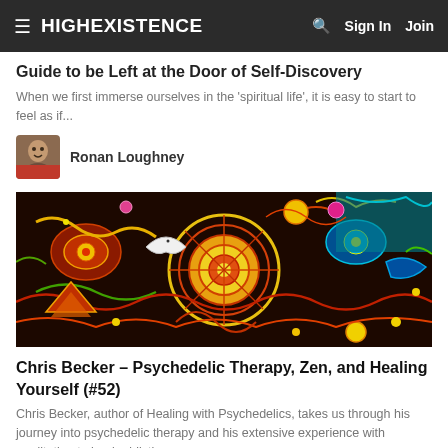HIGHEXISTENCE  Sign In  Join
Guide to be Left at the Door of Self-Discovery
When we first immerse ourselves in the 'spiritual life', it is easy to start to feel as if...
Ronan Loughney
[Figure (photo): Colorful psychedelic folk art painting with intricate patterns, animals, and geometric shapes in red, orange, blue, green, and yellow.]
Chris Becker – Psychedelic Therapy, Zen, and Healing Yourself (#52)
Chris Becker, author of Healing with Psychedelics, takes us through his journey into psychedelic therapy and his extensive experience with meditation to heal addiction